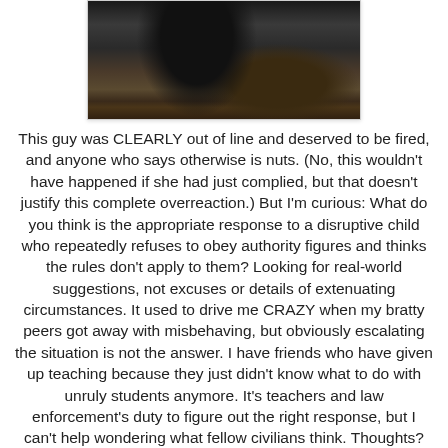[Figure (photo): Dark photograph showing a person on the floor, appears to be a school or institutional setting]
This guy was CLEARLY out of line and deserved to be fired, and anyone who says otherwise is nuts. (No, this wouldn't have happened if she had just complied, but that doesn't justify this complete overreaction.) But I'm curious: What do you think is the appropriate response to a disruptive child who repeatedly refuses to obey authority figures and thinks the rules don't apply to them? Looking for real-world suggestions, not excuses or details of extenuating circumstances. It used to drive me CRAZY when my bratty peers got away with misbehaving, but obviously escalating the situation is not the answer. I have friends who have given up teaching because they just didn't know what to do with unruly students anymore. It's teachers and law enforcement's duty to figure out the right response, but I can't help wondering what fellow civilians think. Thoughts?